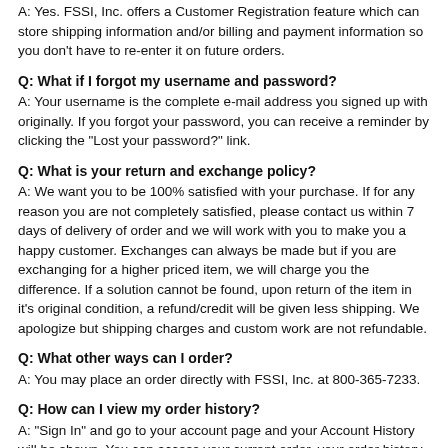A: Yes. FSSI, Inc. offers a Customer Registration feature which can store shipping information and/or billing and payment information so you don't have to re-enter it on future orders.
Q: What if I forgot my username and password?
A: Your username is the complete e-mail address you signed up with originally. If you forgot your password, you can receive a reminder by clicking the "Lost your password?" link.
Q: What is your return and exchange policy?
A: We want you to be 100% satisfied with your purchase. If for any reason you are not completely satisfied, please contact us within 7 days of delivery of order and we will work with you to make you a happy customer. Exchanges can always be made but if you are exchanging for a higher priced item, we will charge you the difference. If a solution cannot be found, upon return of the item in it's original condition, a refund/credit will be given less shipping. We apologize but shipping charges and custom work are not refundable.
Q: What other ways can I order?
A: You may place an order directly with FSSI, Inc. at 800-365-7233.
Q: How can I view my order history?
A: "Sign In" and go to your account page and your Account History will be shown. You can access your current order, your order history, and other information you've provided such as your contact information. It's a good idea to keep your information current,